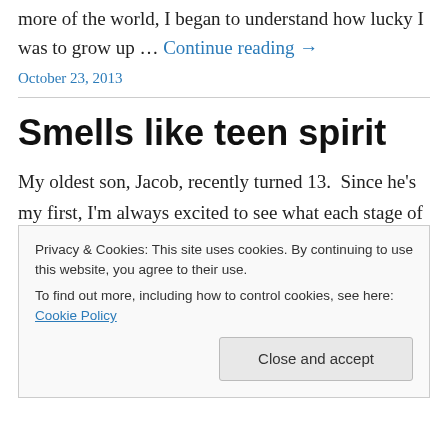more of the world, I began to understand how lucky I was to grow up … Continue reading →
October 23, 2013
Smells like teen spirit
My oldest son, Jacob, recently turned 13.  Since he's my first, I'm always excited to see what each stage of development will bring. By the time my middle son gets to a new phase, I have some experience and can prepare for
Privacy & Cookies: This site uses cookies. By continuing to use this website, you agree to their use.
To find out more, including how to control cookies, see here: Cookie Policy
Close and accept